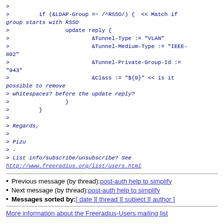> 
>         if (&LDAP-Group =~ /^RSSO/) {  << Match if group starts with RSSO
>                 update reply {
>                         &Tunnel-Type := "VLAN"
>                         &Tunnel-Medium-Type := "IEEE-802"
>                         &Tunnel-Private-Group-Id := "943"
>                         &Class := "${0}" << is it possible to remove
> whitespaces? before the update reply?
>                 }
>         }
>
> Regards,
>
> Pizu
> -
> List info/subscribe/unsubscribe? See
http://www.freeradius.org/list/users.html
Previous message (by thread): post-auth help to simplify
Next message (by thread): post-auth help to simplify
Messages sorted by: [ date ] [ thread ] [ subject ] [ author ]
More information about the Freeradius-Users mailing list